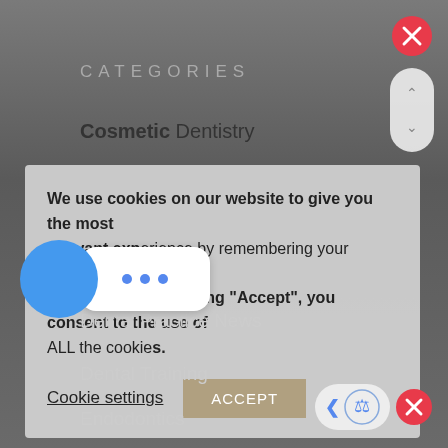CATEGORIES
Cosmetic Dentistry
[Figure (screenshot): Cookie consent popup with text, Cookie settings link, and ACCEPT button]
Dental Practice News
Dental Training
Endodontics
Gum Disease